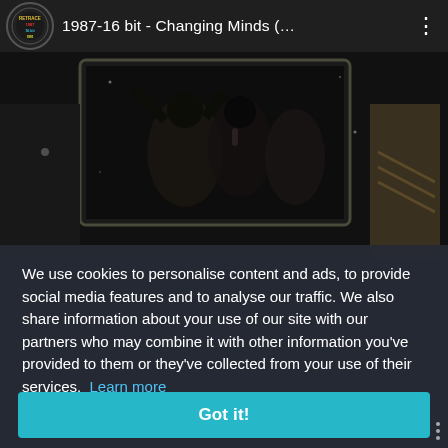[Figure (screenshot): Video player top bar with circular channel icon showing colorful retro logo, video title '1987-16 bit - Changing Minds (…', and three-dot menu icon on dark background]
[Figure (screenshot): Video thumbnail showing dark performance scene with figures under stage lighting]
We use cookies to personalise content and ads, to provide social media features and to analyse our traffic. We also share information about your use of our site with our partners who may combine it with other information you've provided to them or they've collected from your use of their services. Learn more
Got it!